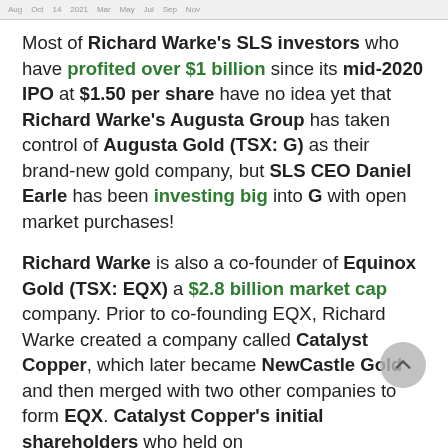Aug  Oct  14  2021  Mar  May  Jul  Sep  Nov
Most of Richard Warke's SLS investors who have profited over $1 billion since its mid-2020 IPO at $1.50 per share have no idea yet that Richard Warke's Augusta Group has taken control of Augusta Gold (TSX: G) as their brand-new gold company, but SLS CEO Daniel Earle has been investing big into G with open market purchases!
Richard Warke is also a co-founder of Equinox Gold (TSX: EQX) a $2.8 billion market cap company. Prior to co-founding EQX, Richard Warke created a company called Catalyst Copper, which later became NewCastle Gold and then merged with two other companies to form EQX. Catalyst Copper's initial shareholders who held on